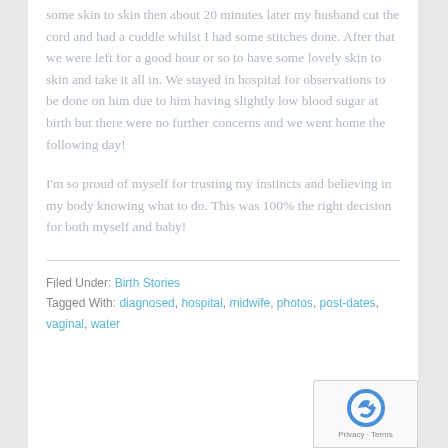some skin to skin then about 20 minutes later my husband cut the cord and had a cuddle whilst I had some stitches done. After that we were left for a good hour or so to have some lovely skin to skin and take it all in. We stayed in hospital for observations to be done on him due to him having slightly low blood sugar at birth but there were no further concerns and we went home the following day!
I'm so proud of myself for trusting my instincts and believing in my body knowing what to do. This was 100% the right decision for both myself and baby!
Filed Under: Birth Stories
Tagged With: diagnosed, hospital, midwife, photos, post-dates, vaginal, water